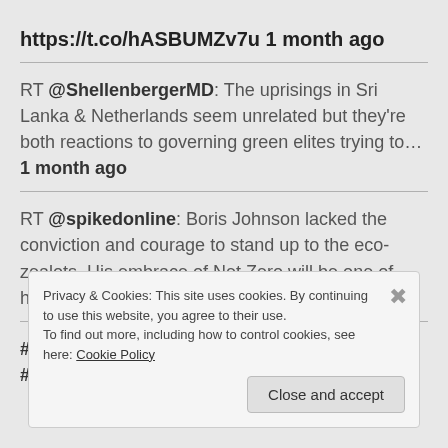https://t.co/hASBUMZv7u 1 month ago
RT @ShellenbergerMD: The uprisings in Sri Lanka & Netherlands seem unrelated but they're both reactions to governing green elites trying to… 1 month ago
RT @spikedonline: Boris Johnson lacked the conviction and courage to stand up to the eco-zealots. His embrace of Net Zero will be one of hi… 1 month ago
#Jacinda_Ardern has fallen for the #Green_Agenda &
Privacy & Cookies: This site uses cookies. By continuing to use this website, you agree to their use.
To find out more, including how to control cookies, see here: Cookie Policy
Close and accept